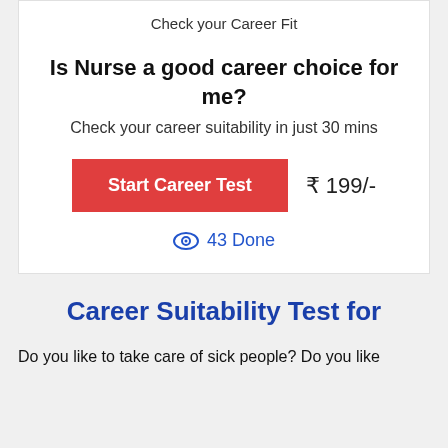Check your Career Fit
Is Nurse a good career choice for me?
Check your career suitability in just 30 mins
Start Career Test   ₹ 199/-
👁 43 Done
Career Suitability Test for
Do you like to take care of sick people? Do you like